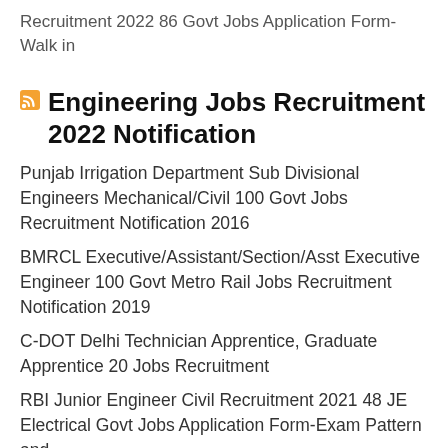Recruitment 2022 86 Govt Jobs Application Form-Walk in
Engineering Jobs Recruitment 2022 Notification
Punjab Irrigation Department Sub Divisional Engineers Mechanical/Civil 100 Govt Jobs Recruitment Notification 2016
BMRCL Executive/Assistant/Section/Asst Executive Engineer 100 Govt Metro Rail Jobs Recruitment Notification 2019
C-DOT Delhi Technician Apprentice, Graduate Apprentice 20 Jobs Recruitment
RBI Junior Engineer Civil Recruitment 2021 48 JE Electrical Govt Jobs Application Form-Exam Pattern and